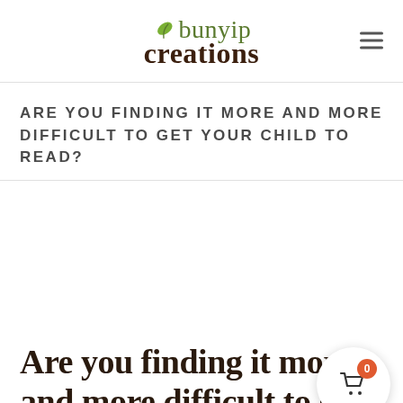bunyip creations
ARE YOU FINDING IT MORE AND MORE DIFFICULT TO GET YOUR CHILD TO READ?
Are you finding it more and more difficult to get your child to